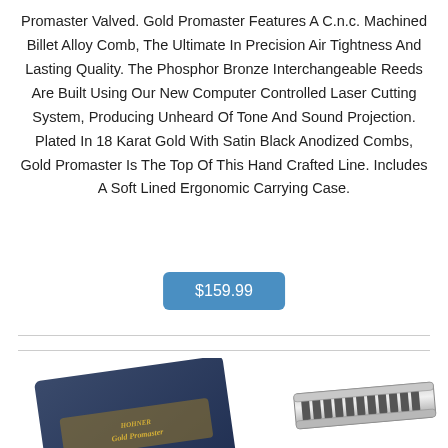Promaster Valved. Gold Promaster Features A C.n.c. Machined Billet Alloy Comb, The Ultimate In Precision Air Tightness And Lasting Quality. The Phosphor Bronze Interchangeable Reeds Are Built Using Our New Computer Controlled Laser Cutting System, Producing Unheard Of Tone And Sound Projection. Plated In 18 Karat Gold With Satin Black Anodized Combs, Gold Promaster Is The Top Of This Hand Crafted Line. Includes A Soft Lined Ergonomic Carrying Case.
$159.99
[Figure (photo): Two harmonica product images side by side: left shows a dark blue case/box with gold lettering reading 'Gold Promaster', right shows a silver harmonica instrument]